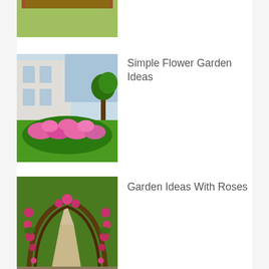[Figure (photo): Partially visible raised garden bed with wooden frame and plants, cut off at top of page]
[Figure (photo): Flower garden with pink blooms in a curved bed on green lawn, building in background]
Simple Flower Garden Ideas
[Figure (photo): Rose archway pathway through a garden with climbing roses overhead]
Garden Ideas With Roses
[Figure (photo): Vegetable garden with walkway paths between green plant beds]
Vegetable Garden Walkway Ideas